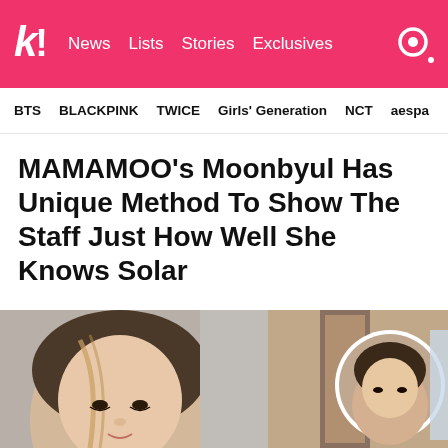k! News Lists Stories Exclusives
BTS BLACKPINK TWICE Girls' Generation NCT aespa
MAMAMOO's Moonbyul Has Unique Method To Show The Staff Just How Well She Knows Solar
We can't get enough of these two!
[Figure (photo): Two K-pop stars, one on the left side and one in a circular inset on the right, partially cropped photo]